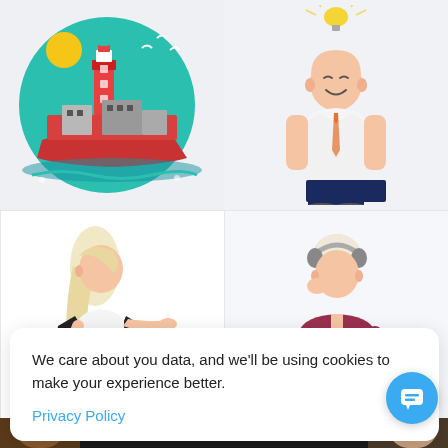[Figure (illustration): Flat style illustration of a red lighthouse ship on water with a teal circular background, yellow sun, and birds in the sky]
[Figure (illustration): Flat style cartoon of a smiling businessman in white shirt and orange tie with an open top head and light bulb idea concept]
[Figure (illustration): Flat style illustration of a blonde woman in dark jacket and jeans gesturing with one hand]
[Figure (illustration): Flat style illustration of a person in burgundy jacket listening to headphones while looking at a phone]
We care about you data, and we'll be using cookies to make your experience better.
Privacy Policy
[Figure (illustration): Bottom strip showing partial faces/avatars of people]